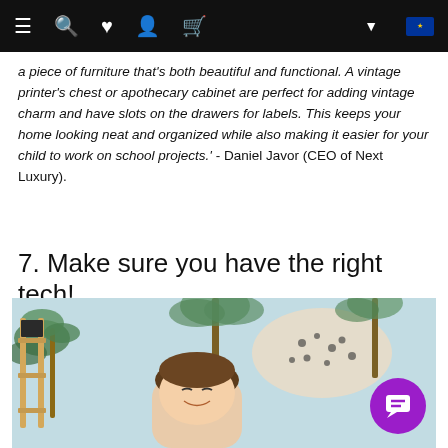Navigation bar with menu, search, heart, profile, cart icons and EU flag
a piece of furniture that's both beautiful and functional. A vintage printer's chest or apothecary cabinet are perfect for adding vintage charm and have slots on the drawers for labels. This keeps your home looking neat and organized while also making it easier for your child to work on school projects.' - Daniel Javor (CEO of Next Luxury).
7. Make sure you have the right tech!
[Figure (photo): A young child with short brown hair, smiling, standing in front of a jungle-themed wallpaper featuring palm trees and a cheetah. A wooden shelf is visible on the left side. A purple chat bubble icon is in the bottom right corner.]